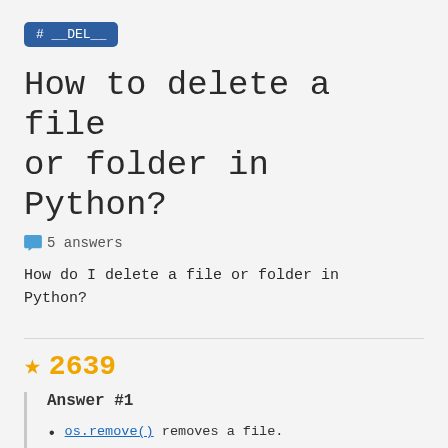# __DEL__
How to delete a file or folder in Python?
5 answers
How do I delete a file or folder in Python?
2639
Answer #1
os.remove() removes a file.
os.rmdir() removes an empty directory.
shutil.rmtree() deletes a directory and all its